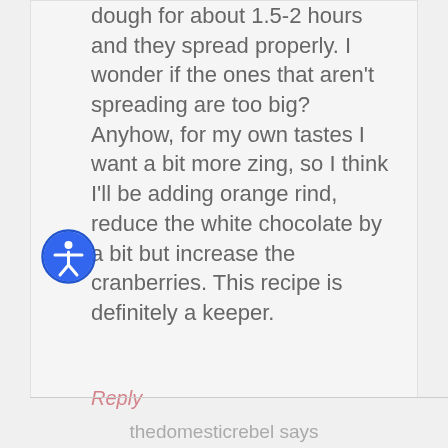dough for about 1.5-2 hours and they spread properly. I wonder if the ones that aren't spreading are too big?
Anyhow, for my own tastes I want a bit more zing, so I think I'll be adding orange rind, reduce the white chocolate by a bit but increase the cranberries. This recipe is definitely a keeper.
Reply
thedomesticrebel says